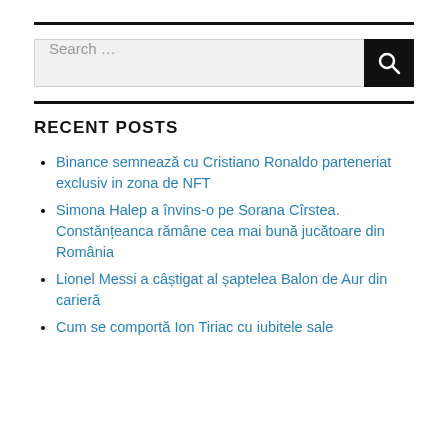[Figure (screenshot): Search bar with text 'Search ...' and a black search button with magnifying glass icon]
RECENT POSTS
Binance semnează cu Cristiano Ronaldo parteneriat exclusiv in zona de NFT
Simona Halep a învins-o pe Sorana Cîrstea. Constănțeanca rămâne cea mai bună jucătoare din România
Lionel Messi a câștigat al șaptelea Balon de Aur din carieră
Cum se comportă Ion Tiriac cu iubitele sale